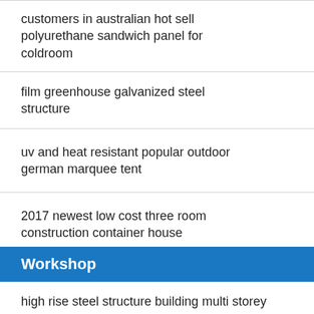customers in australian hot sell polyurethane sandwich panel for coldroom
film greenhouse galvanized steel structure
uv and heat resistant popular outdoor german marquee tent
2017 newest low cost three room construction container house
Workshop
high rise steel structure building multi storey
luxury houses prefabricated homes standard cabins pre